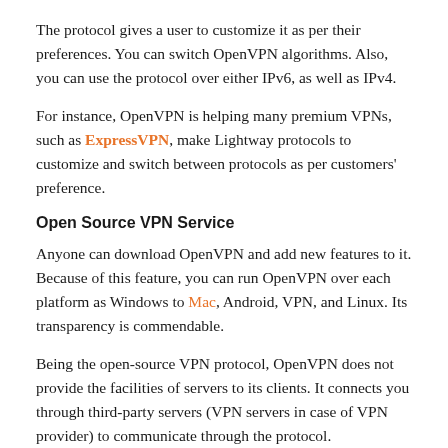The protocol gives a user to customize it as per their preferences. You can switch OpenVPN algorithms. Also, you can use the protocol over either IPv6, as well as IPv4.
For instance, OpenVPN is helping many premium VPNs, such as ExpressVPN, make Lightway protocols to customize and switch between protocols as per customers' preference.
Open Source VPN Service
Anyone can download OpenVPN and add new features to it. Because of this feature, you can run OpenVPN over each platform as Windows to Mac, Android, VPN, and Linux. Its transparency is commendable.
Being the open-source VPN protocol, OpenVPN does not provide the facilities of servers to its clients. It connects you through third-party servers (VPN servers in case of VPN provider) to communicate through the protocol.